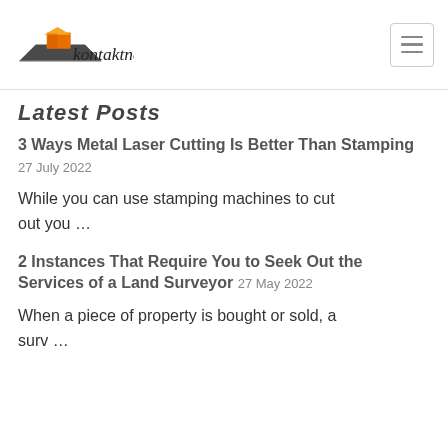kontaktnett logo and navigation
Latest Posts
3 Ways Metal Laser Cutting Is Better Than Stamping 27 July 2022
While you can use stamping machines to cut out you …
2 Instances That Require You to Seek Out the Services of a Land Surveyor 27 May 2022
When a piece of property is bought or sold, a surv …